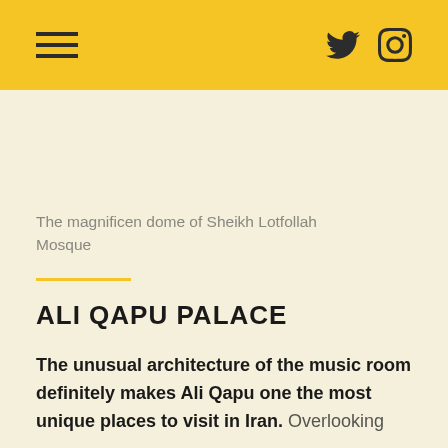The magnificen dome of Sheikh Lotfollah Mosque
ALI QAPU PALACE
The unusual architecture of the music room definitely makes Ali Qapu one the most unique places to visit in Iran. Overlooking